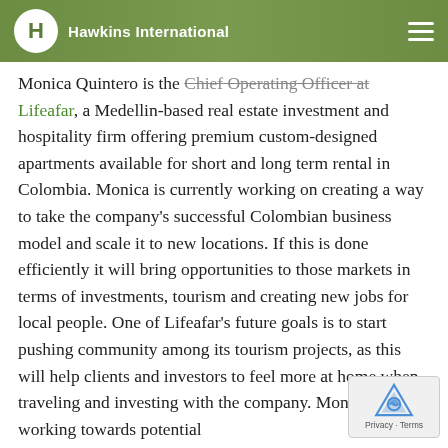Lifeafar
Hawkins International
Monica Quintero is the Chief Operating Officer at Lifeafar, a Medellin-based real estate investment and hospitality firm offering premium custom-designed apartments available for short and long term rental in Colombia. Monica is currently working on creating a way to take the company's successful Colombian business model and scale it to new locations. If this is done efficiently it will bring opportunities to those markets in terms of investments, tourism and creating new jobs for local people. One of Lifeafar's future goals is to start pushing community among its tourism projects, as this will help clients and investors to feel more at home when traveling and investing with the company. Monica is also working towards potential